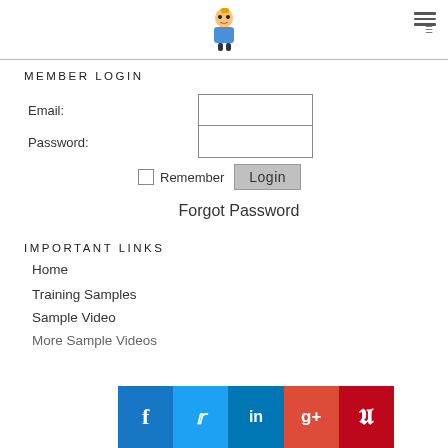Logo / navigation header with hamburger menu
MEMBER LOGIN
Email:
Password:
Remember  Login
Forgot Password
IMPORTANT LINKS
Home
Training Samples
Sample Video
More Sample Videos
[Figure (infographic): Social sharing bar with Facebook, Twitter, LinkedIn, Google+, and Pinterest icons]